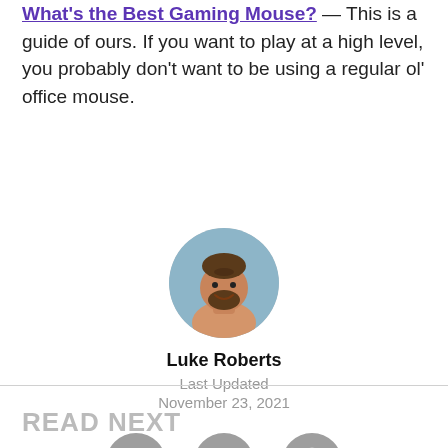What's the Best Gaming Mouse? — This is a guide of ours. If you want to play at a high level, you probably don't want to be using a regular ol' office mouse.
[Figure (photo): Circular author avatar photo of Luke Roberts, a man with a beard smiling, with a blurred background.]
Luke Roberts
Last Updated
November 23, 2021
[Figure (infographic): Three social media share icons in grey circles: Facebook, Twitter, and WhatsApp.]
READ NEXT